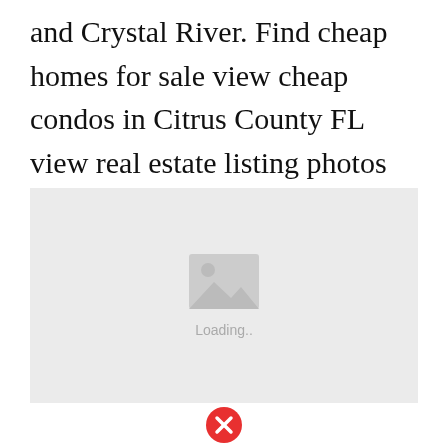and Crystal River. Find cheap homes for sale view cheap condos in Citrus County FL view real estate listing photos compare properties and more.
[Figure (other): Image loading placeholder with a photo icon and 'Loading..' text below it]